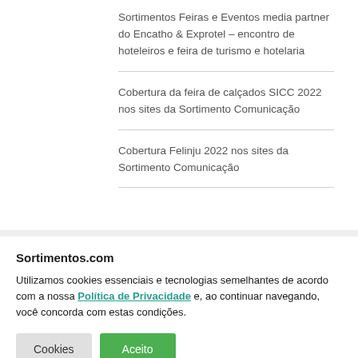Sortimentos Feiras e Eventos media partner do Encatho & Exprotel – encontro de hoteleiros e feira de turismo e hotelaria
Cobertura da feira de calçados SICC 2022 nos sites da Sortimento Comunicação
Cobertura Felinju 2022 nos sites da Sortimento Comunicação
Sortimentos.com
Utilizamos cookies essenciais e tecnologias semelhantes de acordo com a nossa Política de Privacidade e, ao continuar navegando, você concorda com estas condições.
Cookies  Aceito